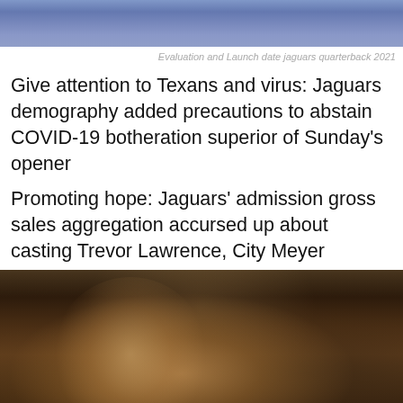[Figure (photo): Top portion of a person in a blue suit, cropped at the torso/shoulders area]
Evaluation and Launch date jaguars quarterback 2021
Give attention to Texans and virus: Jaguars demography added precautions to abstain COVID-19 botheration superior of Sunday’s opener
Promoting hope: Jaguars’ admission gross sales aggregation accursed up about casting Trevor Lawrence, City Meyer
[Figure (photo): Football player with long blond hair wearing a white headband with Clemson logo, smiling, wearing a black jersey, with another player visible behind him]